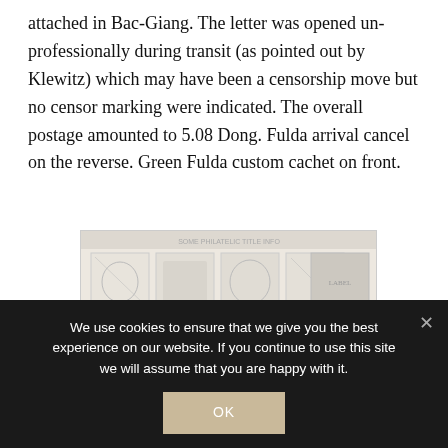attached in Bac-Giang. The letter was opened un-professionally during transit (as pointed out by Klewitz) which may have been a censorship move but no censor marking were indicated. The overall postage amounted to 5.08 Dong. Fulda arrival cancel on the reverse. Green Fulda custom cachet on front.
[Figure (photo): A faded/washed-out image showing a collection of postage stamps arranged in a grid pattern, appearing to be Vietnamese stamps with various designs including birds and other motifs.]
We use cookies to ensure that we give you the best experience on our website. If you continue to use this site we will assume that you are happy with it.